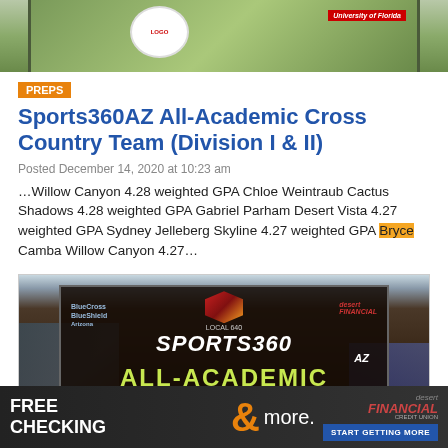[Figure (photo): Top image showing green field/sports scene with logo on left and University of Florida logo on right]
PREPS
Sports360AZ All-Academic Cross Country Team (Division I & II)
Posted December 14, 2020 at 10:23 am
…Willow Canyon 4.28 weighted GPA Chloe Weintraub Cactus Shadows 4.28 weighted GPA Gabriel Parham Desert Vista 4.27 weighted GPA Sydney Jelleberg Skyline 4.27 weighted GPA Bryce Camba Willow Canyon 4.27…
[Figure (photo): Sports360AZ All-Academic Cross Country Teams promotional image with logos for Local 640, BlueCross BlueShield Arizona, and Desert Financial]
[Figure (photo): Advertisement banner: FREE CHECKING & more. Desert Financial. START GETTING MORE]